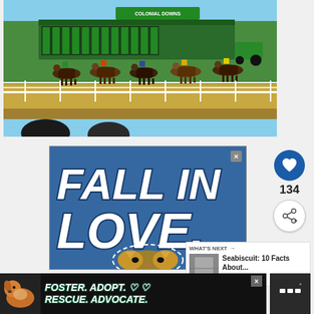[Figure (photo): Horse racing at Colonial Downs racetrack. Multiple horses and jockeys racing along the track with green grass infield. Starting gate visible in background. Spectators visible in foreground (silhouettes).]
[Figure (photo): Advertisement with blue background showing large white italic bold text 'FALL IN LOVE' with a cat (kitten face/paws) at the bottom. Close/X button in top right corner.]
134
WHAT'S NEXT → Seabiscuit: 10 Facts About...
[Figure (photo): Bottom banner advertisement showing a pit bull dog on dark background with white italic text: 'FOSTER. ADOPT. RESCUE. ADVOCATE.' with heart icons and a close button. Weather icon visible on right side.]